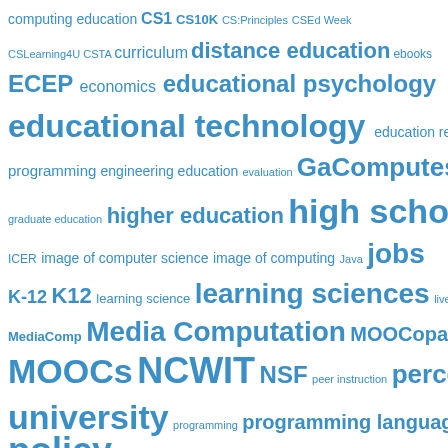[Figure (infographic): Tag cloud / word cloud showing computing education related terms in varying sizes of blue text, indicating frequency/importance. Terms include: computing education, CS1, CS10K, CS:Principles, CSEd Week, CSLearning4U, CSTA, curriculum, distance education, ebooks, ECEP, economics, educational psychology, educational technology, education research, end-user programming, engineering education, evaluation, GaComputes, graduate education, higher education, high school CS, ICER, image of computer science, image of computing, Java, jobs, K-12, K12, learning science, learning sciences, live coding, Logo, MediaComp, Media Computation, MOOCopalypse, MOOCs, NCWIT, NSF, peer instruction, perception of university, programming, programming languages, public policy, Python, robots, science education, Scratch, SIGCSE]